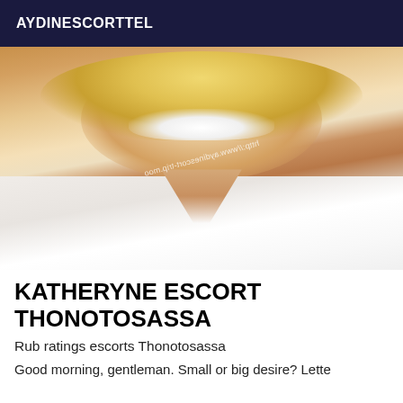AYDINESCORTTEL
[Figure (photo): Close-up photo of a smiling blonde woman wearing a white top, with a watermark URL visible across the image.]
KATHERYNE ESCORT THONOTOSASSA
Rub ratings escorts Thonotosassa
Good morning, gentleman. Small or big desire? Lette